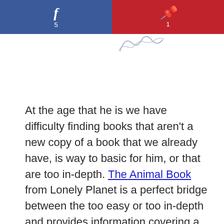[Figure (other): Social sharing buttons: Facebook with count 5 (blue) and Pinterest with count 1 (red)]
[Figure (illustration): Cursive signature or logo in light gray/blue ink]
At the age that he is we have difficulty finding books that aren't a new copy of a book that we already have, is way to basic for him, or that are too in-depth. The Animal Book from Lonely Planet is a perfect bridge between the too easy or too in-depth and provides information covering a wide range of animals on the planet.